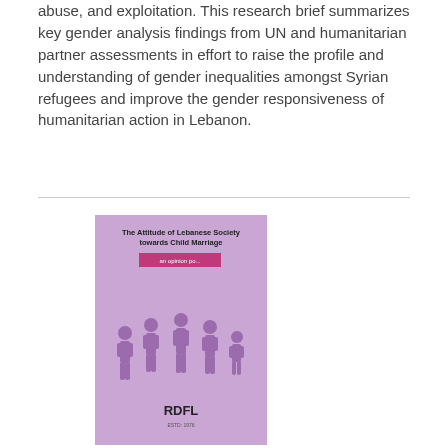abuse, and exploitation. This research brief summarizes key gender analysis findings from UN and humanitarian partner assessments in effort to raise the profile and understanding of gender inequalities amongst Syrian refugees and improve the gender responsiveness of humanitarian action in Lebanon.
[Figure (illustration): Book cover for 'The Attitude of Lebanese Society towards Child Marriage – An Opinion Poll' published by RDFL, with a purple background and illustrated human figures]
The Attitude of Lebanese Society towards Child Marriage - An Opinion Poll
Date: Tuesday, 12 February 2019
In Lebanon, the Lebanese Women Democratic Gathering conducted an opinion poll on child marriage and are using the results as a basis to sensitize the public as well as political parties on this issue. Meetings are conducted with parliamentarians and political parties to introduce RDFL's proposed law and lobby for its discussion in parliament and thereafter adoption and ratification. The project promotes the engagement of men and boys from...